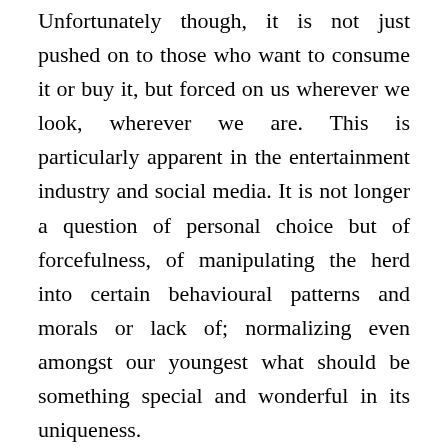Unfortunately though, it is not just pushed on to those who want to consume it or buy it, but forced on us wherever we look, wherever we are. This is particularly apparent in the entertainment industry and social media. It is not longer a question of personal choice but of forcefulness, of manipulating the herd into certain behavioural patterns and morals or lack of; normalizing even amongst our youngest what should be something special and wonderful in its uniqueness.
I missed the ‘sanctity’ that used to go hand in hand with the process of meeting someone and falling in love, or maybe just discovering each other emotionally, intellectually, and physically. Now it is all so void of any romance, any mystery, any longevity, in essence of